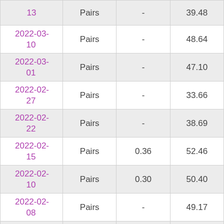| Date | Type | Value1 | Value2 |
| --- | --- | --- | --- |
| 13 | Pairs | - | 39.48 |
| 2022-03-10 | Pairs | - | 48.64 |
| 2022-03-01 | Pairs | - | 47.10 |
| 2022-02-27 | Pairs | - | 33.66 |
| 2022-02-22 | Pairs | - | 38.69 |
| 2022-02-15 | Pairs | 0.36 | 52.46 |
| 2022-02-10 | Pairs | 0.30 | 50.40 |
| 2022-02-08 | Pairs | - | 49.17 |
| 2022-02-... | Pairs | - |  |